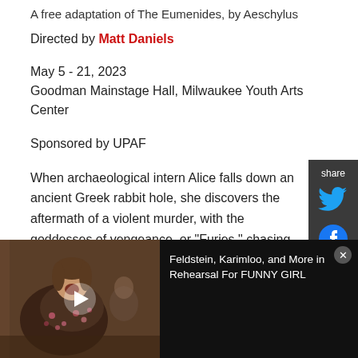A free adaptation of The Eumenides, by Aeschylus
Directed by Matt Daniels
May 5 - 21, 2023
Goodman Mainstage Hall, Milwaukee Youth Arts Center
Sponsored by UPAF
When archaeological intern Alice falls down an ancient Greek rabbit hole, she discovers the aftermath of a violent murder, with the goddesses of vengeance, or "Furies," chasing down the accused to exact bloody retribution. Athena, the goddess of
[Figure (other): Social share sidebar with Twitter and Facebook icons]
[Figure (screenshot): Video overlay showing a woman singing/performing with play button, and text: Feldstein, Karimloo, and More in Rehearsal For FUNNY GIRL, with close button]